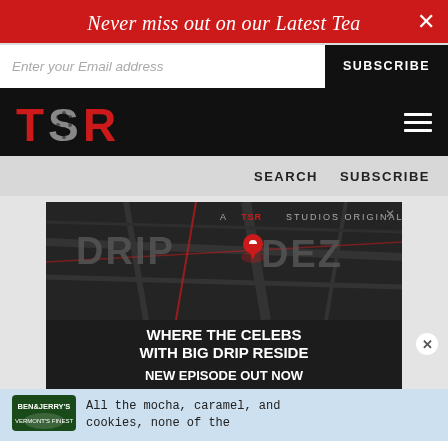Never miss out on our Latest Tea
Enter your Email address | SUBSCRIBE
[Figure (logo): TSR (The Shade Room) logo in red on black background with hamburger menu icon]
SEARCH   SUBSCRIBE
[Figure (screenshot): A TSR Studios Original - DRIPCODEZ - WHERE THE CELEBS WITH BIG DRIP RESIDE - NEW EPISODE OUT NOW - advertisement on dark background with map imagery]
All the mocha, caramel, and cookies, none of the